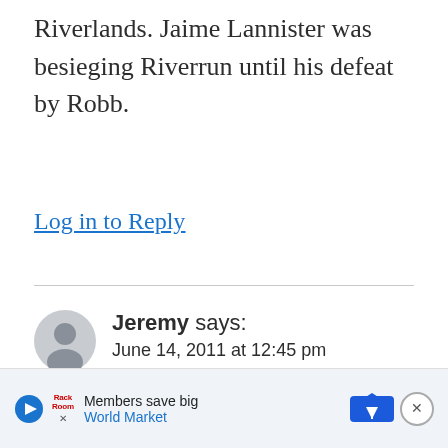Riverlands. Jaime Lannister was besieging Riverrun until his defeat by Robb.
Log in to Reply
Jeremy says:
June 14, 2011 at 12:45 pm
No SPOILERS in this post, but both links contain them.
[Figure (other): World Market advertisement banner with play button, logo, and navigation icon]
The...